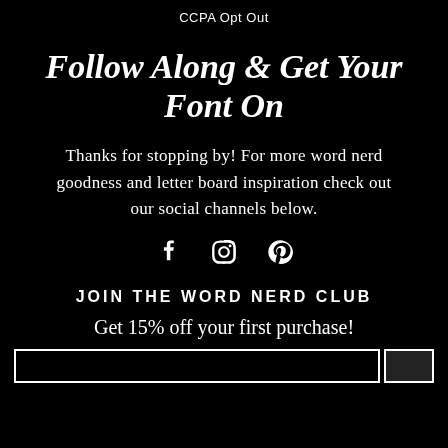CCPA Opt Out
Follow Along & Get Your Font On
Thanks for stopping by! For more word nerd goodness and letter board inspiration check out our social channels below.
[Figure (other): Social media icons: Facebook, Instagram, Pinterest]
JOIN THE WORD NERD CLUB
Get 15% off your first purchase!